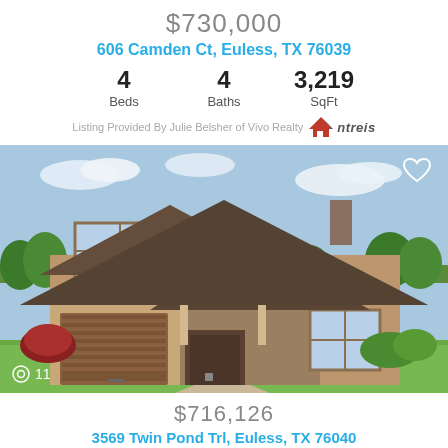$730,000
606 Camden Ct, Euless, TX 76039
4 Beds   4 Baths   3,219 SqFt
Listing Provided By Julie Belsher of Vivo Realty ntreis
[Figure (photo): Exterior photo of a two-story brick and stone house with brown roof, two-car garage, and landscaping. Shows '11' photo count indicator in bottom left corner.]
$716,126
3569 Twin Pond Trl, Euless, TX 76040